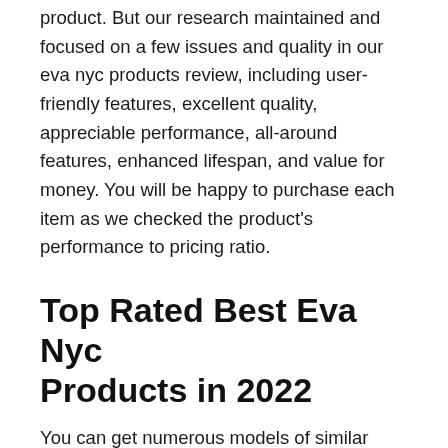product. But our research maintained and focused on a few issues and quality in our eva nyc products review, including user-friendly features, excellent quality, appreciable performance, all-around features, enhanced lifespan, and value for money. You will be happy to purchase each item as we checked the product's performance to pricing ratio.
Top Rated Best Eva Nyc Products in 2022
You can get numerous models of similar products dedicated to multiple users like the eva nyc products. Our selection of top 10 best eva nyc products are made after comparing 20+ products